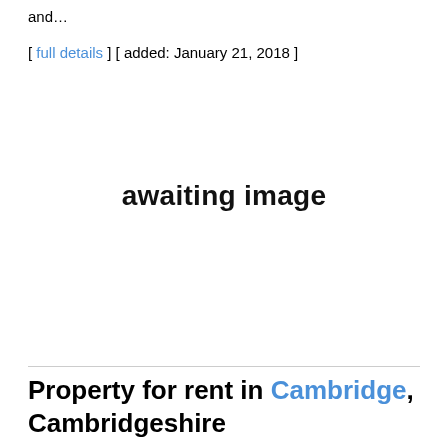and...
[ full details ] [ added: January 21, 2018 ]
[Figure (other): Placeholder image area with text 'awaiting image']
Property for rent in Cambridge, Cambridgeshire